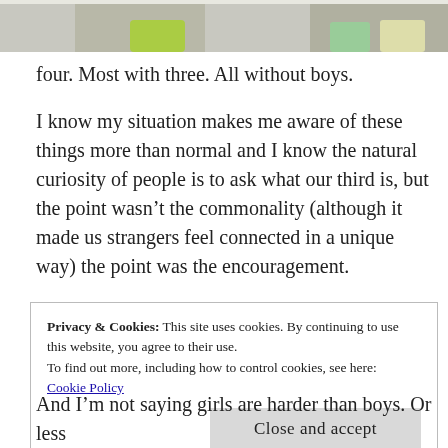[Figure (photo): Top portion of a photo showing children in colorful swimwear/underwear, cropped at the bottom]
four. Most with three. All without boys.
I know my situation makes me aware of these things more than normal and I know the natural curiosity of people is to ask what our third is, but the point wasn't the commonality (although it made us strangers feel connected in a unique way) the point was the encouragement.
In all these occurrences not one single person
Privacy & Cookies: This site uses cookies. By continuing to use this website, you agree to their use.
To find out more, including how to control cookies, see here:
Cookie Policy

Close and accept
And I'm not saying girls are harder than boys. Or less